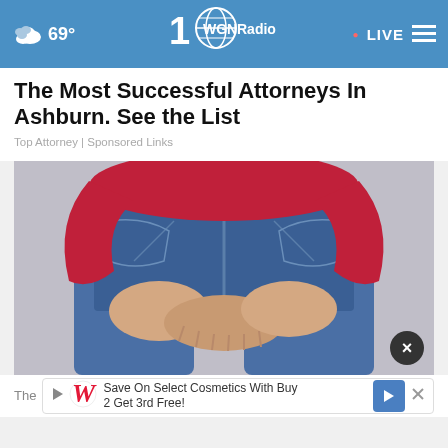69° WGN Radio LIVE
The Most Successful Attorneys In Ashburn. See the List
Top Attorney | Sponsored Links
[Figure (photo): Person from behind wearing red top and blue jeans, hands clasped behind their back]
The
Save On Select Cosmetics With Buy 2 Get 3rd Free!